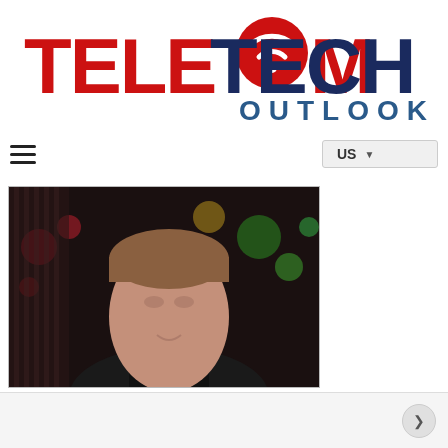[Figure (logo): Telecom Tech Outlook logo with red TELECOM text and blue TECH OUTLOOK text, with a wifi signal icon replacing the O in TELECOM]
[Figure (other): Navigation bar with hamburger menu icon on left and US region selector dropdown on right]
[Figure (photo): Portrait photo of a man wearing a black V-neck shirt, smiling slightly, with a dark blurred background with colorful bokeh lights]
Telestax: Providing CPaaS Solutions to Service Providers